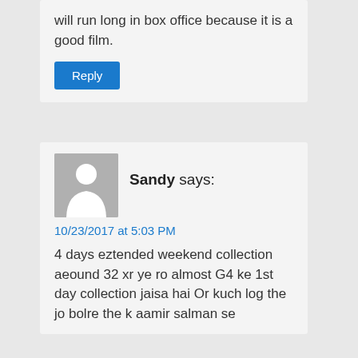will run long in box office because it is a good film.
Reply
[Figure (illustration): User avatar placeholder — grey square with white person silhouette icon]
Sandy says:
10/23/2017 at 5:03 PM
4 days eztended weekend collection aeound 32 xr ye ro almost G4 ke 1st day collection jaisa hai Or kuch log the jo bolre the k aamir salman se